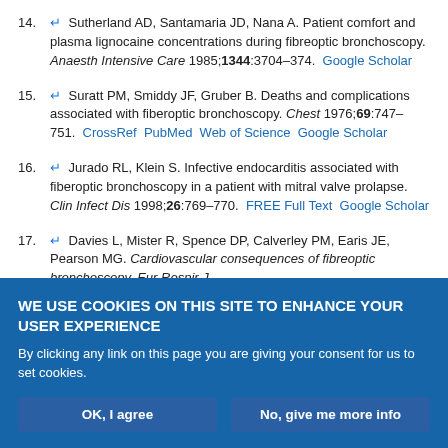14. Sutherland AD, Santamaria JD, Nana A. Patient comfort and plasma lignocaine concentrations during fibreoptic bronchoscopy. Anaesth Intensive Care 1985;1344:3704–374. Google Scholar
15. Suratt PM, Smiddy JF, Gruber B. Deaths and complications associated with fiberoptic bronchoscopy. Chest 1976;69:747–751. CrossRef PubMed Web of Science Google Scholar
16. Jurado RL, Klein S. Infective endocarditis associated with fiberoptic bronchoscopy in a patient with mitral valve prolapse. Clin Infect Dis 1998;26:769–770. FREE Full Text Google Scholar
17. Davies L, Mister R, Spence DP, Calverley PM, Earis JE, Pearson MG. Cardiovascular consequences of fibreoptic bronchoscopy. Eur Respir J...
WE USE COOKIES ON THIS SITE TO ENHANCE YOUR USER EXPERIENCE
By clicking any link on this page you are giving your consent for us to set cookies.